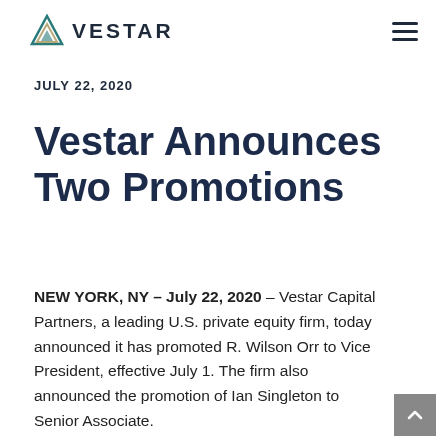VESTAR
JULY 22, 2020
Vestar Announces Two Promotions
NEW YORK, NY – July 22, 2020 – Vestar Capital Partners, a leading U.S. private equity firm, today announced it has promoted R. Wilson Orr to Vice President, effective July 1. The firm also announced the promotion of Ian Singleton to Senior Associate.